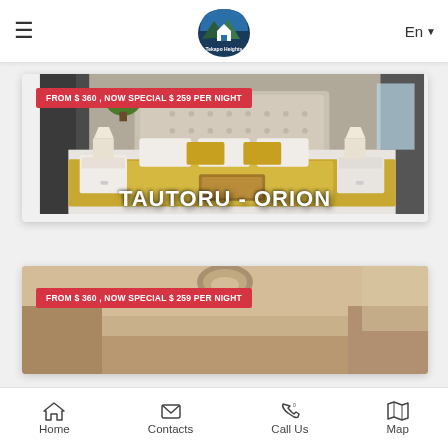Tekapo Heights — En
[Figure (photo): Hotel room card showing a luxurious bedroom with gold bedding, white nightstands, and curtains. Badge reads: FROM $ 360 , NOW SPECIAL $ 259 PER NIGHT. Title: TAUTORU - ORION]
FROM $ 360 , NOW SPECIAL $ 259 PER NIGHT
TAUTORU - ORION
[Figure (photo): Second hotel room card showing a warm-toned room. Badge reads: FROM $ 360 , NOW SPECIAL $ 259 PER NIGHT]
FROM $ 360 , NOW SPECIAL $ 259 PER NIGHT
Home   Contacts   Call Us   Map